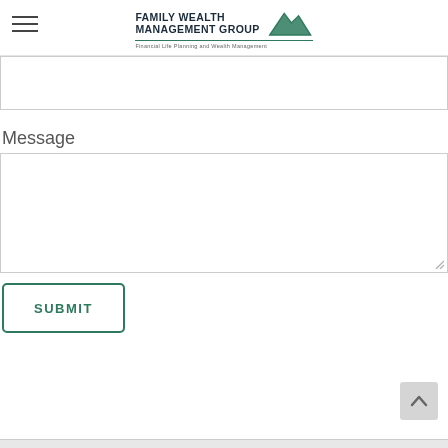FAMILY WEALTH MANAGEMENT GROUP — Financial Life Planning and Wealth Management
[Figure (screenshot): Empty text input field (email/subject form field)]
Message
[Figure (screenshot): Empty textarea/message input box with resize handle]
[Figure (other): SUBMIT button with teal border and teal text]
[Figure (other): Scroll-to-top chevron button, gray background, bottom right]